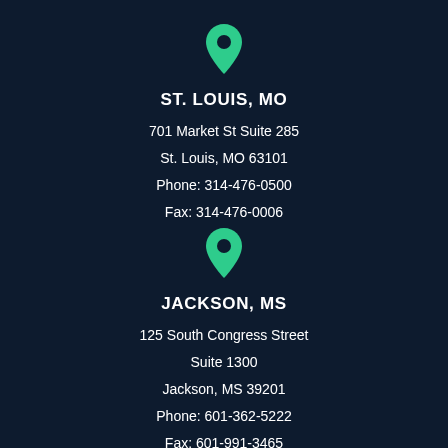[Figure (illustration): Green map pin / location marker icon]
ST. LOUIS, MO
701 Market St Suite 285
St. Louis, MO 63101
Phone: 314-476-0500
Fax: 314-476-0006
[Figure (illustration): Green map pin / location marker icon]
JACKSON, MS
125 South Congress Street
Suite 1300
Jackson, MS 39201
Phone: 601-362-5222
Fax: 601-991-3465